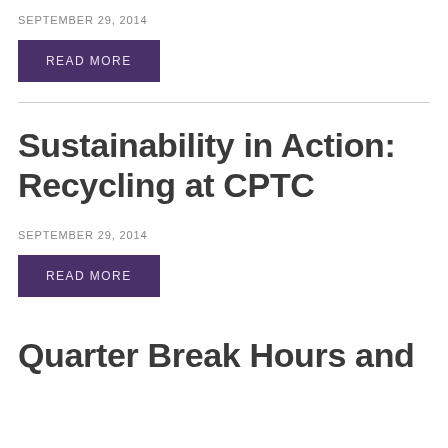SEPTEMBER 29, 2014
READ MORE
Sustainability in Action: Recycling at CPTC
SEPTEMBER 29, 2014
READ MORE
Quarter Break Hours and